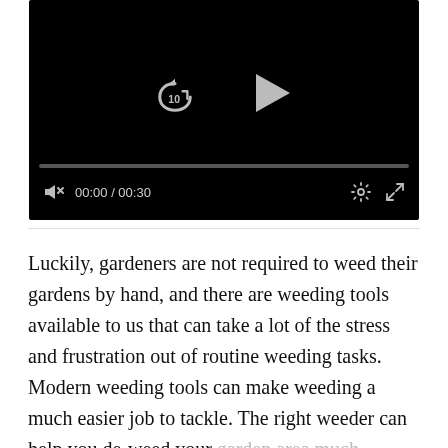[Figure (screenshot): A video player with black background showing a replay button (arrow with '10'), a play button triangle, a progress bar, mute icon, time display '00:00 / 00:30', settings gear icon, and fullscreen icon.]
Luckily, gardeners are not required to weed their gardens by hand, and there are weeding tools available to us that can take a lot of the stress and frustration out of routine weeding tasks. Modern weeding tools can make weeding a much easier job to tackle. The right weeder can help you de-weed your garden area much quicker than you ever could by hand, and can help you get the entirety of those